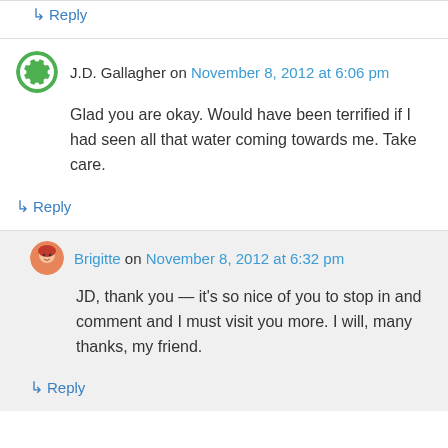↳ Reply
J.D. Gallagher on November 8, 2012 at 6:06 pm
Glad you are okay. Would have been terrified if I had seen all that water coming towards me. Take care.
↳ Reply
Brigitte on November 8, 2012 at 6:32 pm
JD, thank you — it's so nice of you to stop in and comment and I must visit you more. I will, many thanks, my friend.
↳ Reply